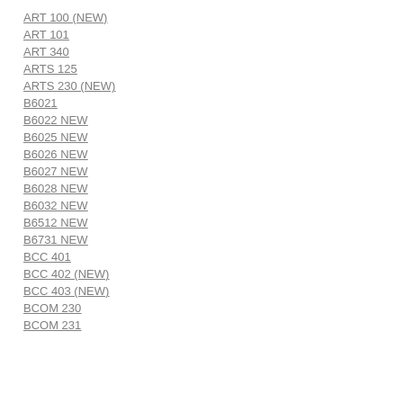ART 100 (NEW)
ART 101
ART 340
ARTS 125
ARTS 230 (NEW)
B6021
B6022 NEW
B6025 NEW
B6026 NEW
B6027 NEW
B6028 NEW
B6032 NEW
B6512 NEW
B6731 NEW
BCC 401
BCC 402 (NEW)
BCC 403 (NEW)
BCOM 230
BCOM 231